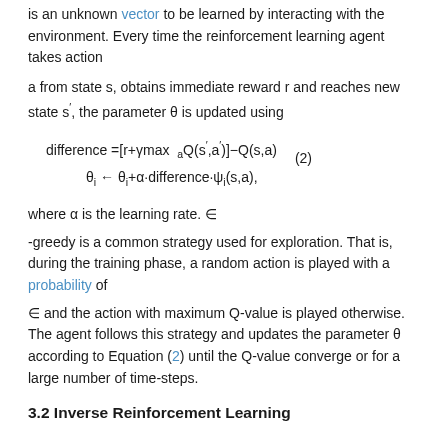is an unknown vector to be learned by interacting with the environment. Every time the reinforcement learning agent takes action
a from state s, obtains immediate reward r and reaches new state s', the parameter θ is updated using
where α is the learning rate. ε
-greedy is a common strategy used for exploration. That is, during the training phase, a random action is played with a probability of
ε and the action with maximum Q-value is played otherwise. The agent follows this strategy and updates the parameter θ according to Equation (2) until the Q-value converge or for a large number of time-steps.
3.2 Inverse Reinforcement Learning